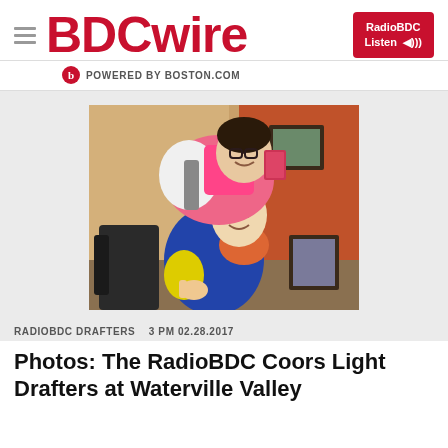BDCwire
POWERED BY BOSTON.COM
[Figure (photo): Two people in colorful ski jackets posing together indoors, one leaning over the other who is making a pointing gesture. They appear to be in a lodge or chalet setting with patterned wallpaper visible in the background.]
RADIOBDC DRAFTERS   3 PM 02.28.2017
Photos: The RadioBDC Coors Light Drafters at Waterville Valley